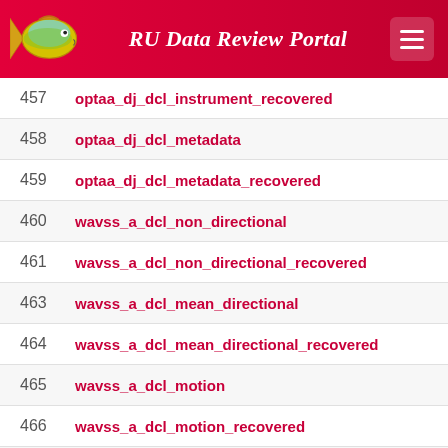RU Data Review Portal
457  optaa_dj_dcl_instrument_recovered
458  optaa_dj_dcl_metadata
459  optaa_dj_dcl_metadata_recovered
460  wavss_a_dcl_non_directional
461  wavss_a_dcl_non_directional_recovered
463  wavss_a_dcl_mean_directional
464  wavss_a_dcl_mean_directional_recovered
465  wavss_a_dcl_motion
466  wavss_a_dcl_motion_recovered
467  wavss_a_dcl_fourier
468  wavss_a_dcl_fourier_recovered